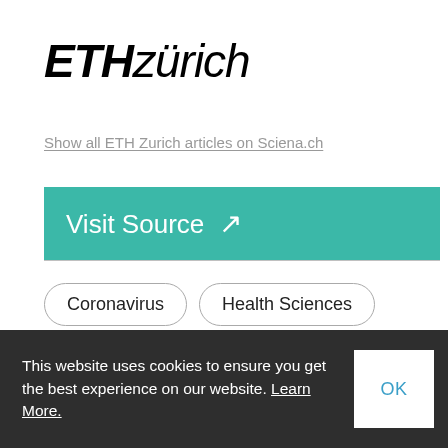[Figure (logo): ETH Zürich logo in bold italic black text]
Show all ETH Zurich articles on Sciena.ch
Visit Source ↗
Coronavirus
Health Sciences
Sociology
This website uses cookies to ensure you get the best experience on our website. Learn More.
OK